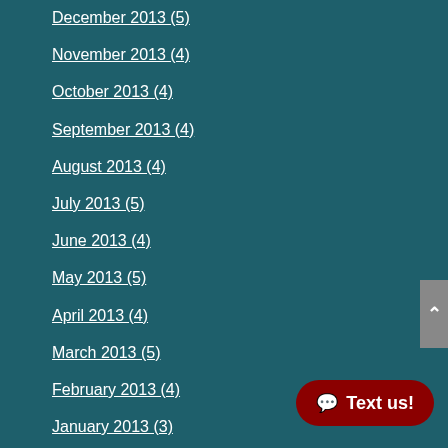December 2013 (5)
November 2013 (4)
October 2013 (4)
September 2013 (4)
August 2013 (4)
July 2013 (5)
June 2013 (4)
May 2013 (5)
April 2013 (4)
March 2013 (5)
February 2013 (4)
January 2013 (3)
Recent Posts